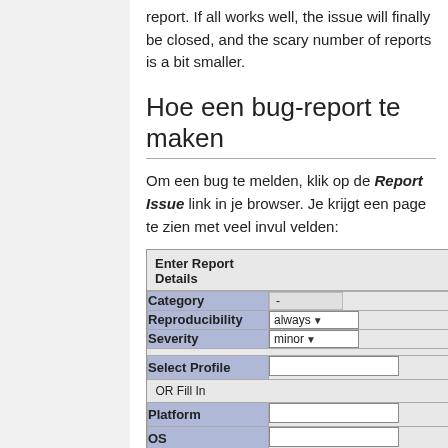report. If all works well, the issue will finally be closed, and the scary number of reports is a bit smaller.
Hoe een bug-report te maken
Om een bug te melden, klik op de Report Issue link in je browser. Je krijgt een page te zien met veel invul velden:
[Figure (screenshot): Screenshot of a bug report form titled 'Enter Report Details' showing fields: Category (dropdown with '-'), Reproducibility (dropdown with 'always'), Severity (dropdown with 'minor'), Select Profile (text input), OR Fill In, Platform (text input), OS (text input)]